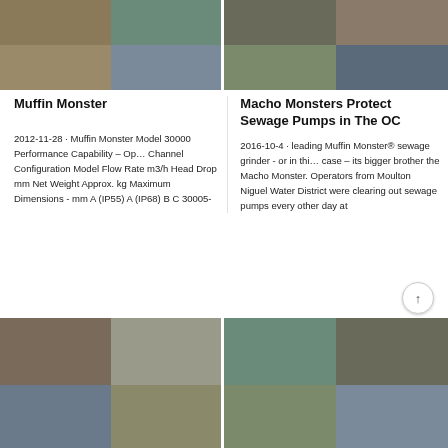[Figure (photo): Grid of industrial/mining equipment photos, top left section]
[Figure (photo): Grid of industrial/mining equipment photos, top right section]
Muffin Monster
Macho Monsters Protect Sewage Pumps in The OC
2012-11-28 · Muffin Monster Model 30000 Performance Capability – Op… Channel Configuration Model Flow Rate m3/h Head Drop mm Net Weight Approx. kg Maximum Dimensions - mm A (IP55) A (IP68) B C 30005-
2016-10-4 · leading Muffin Monster® sewage grinder - or in thi… case – its bigger brother the Macho Monster. Operators from Moulton Niguel Water District were clearing out sewage pumps every other day at
[Figure (photo): Grid of industrial/mining equipment photos, bottom left section]
[Figure (photo): Grid of industrial/mining equipment photos, bottom right section]